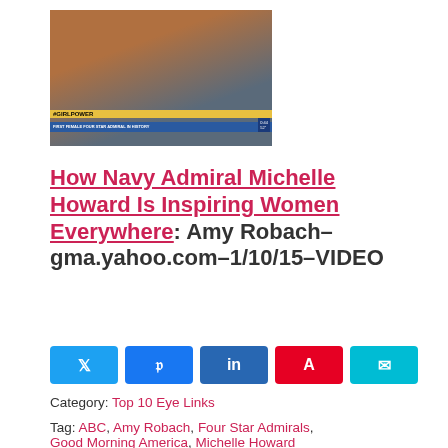[Figure (photo): TV screenshot of Admiral Michelle Howard on ABC with chyron '#GIRLPOWER - BREAKING BARRIERS IN THE U.S. NAVY / FIRST FEMALE FOUR STAR ADMIRAL IN HISTORY']
How Navy Admiral Michelle Howard Is Inspiring Women Everywhere: Amy Robach– gma.yahoo.com–1/10/15–VIDEO
Share buttons: Twitter, Facebook, LinkedIn, Pinterest, Email
Category: Top 10 Eye Links
Tag: ABC, Amy Robach, Four Star Admirals, Good Morning America, Michelle Howard